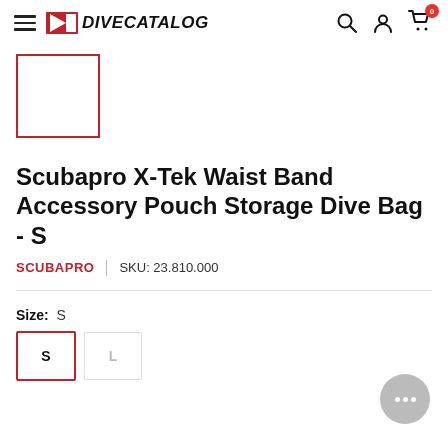DiveCatalog
[Figure (other): Product thumbnail placeholder — empty white box with red border]
Scubapro X-Tek Waist Band Accessory Pouch Storage Dive Bag - S
SCUBAPRO | SKU: 23.810.000
Size: S
Size buttons: S (selected), L